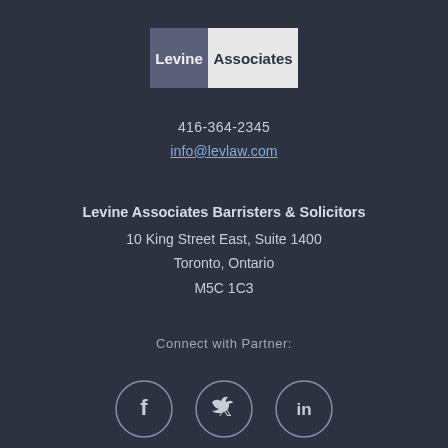[Figure (logo): Levine Associates law firm logo — two-tone block: dark purple 'Levine' on left, light grey 'Associates' on right]
416-364-2345
info@levlaw.com
Levine Associates Barristers & Solicitors
10 King Street East, Suite 1400
Toronto, Ontario
M5C 1C3
Connect with Partner:
[Figure (infographic): Three social media icon circles: Facebook (f), Twitter (bird), LinkedIn (in)]